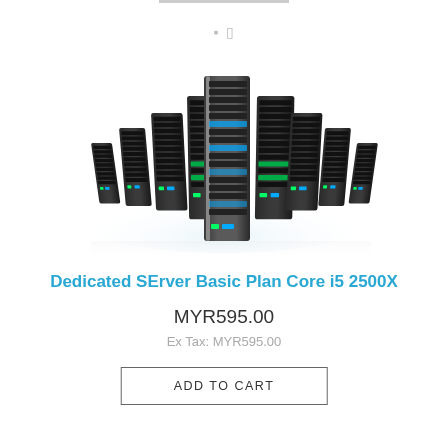[Figure (photo): Array of black server rack units arranged in a fan/arc formation, reflecting on a white surface]
Dedicated SErver Basic Plan Core i5 2500X
MYR595.00
Ex Tax: MYR595.00
ADD TO CART